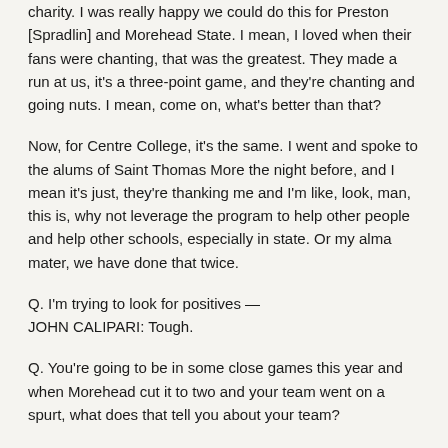charity. I was really happy we could do this for Preston [Spradlin] and Morehead State. I mean, I loved when their fans were chanting, that was the greatest. They made a run at us, it's a three-point game, and they're chanting and going nuts. I mean, come on, what's better than that?
Now, for Centre College, it's the same. I went and spoke to the alums of Saint Thomas More the night before, and I mean it's just, they're thanking me and I'm like, look, man, this is, why not leverage the program to help other people and help other schools, especially in state. Or my alma mater, we have done that twice.
Q. I'm trying to look for positives —
JOHN CALIPARI: Tough.
Q. You're going to be in some close games this year and when Morehead cut it to two and your team went on a spurt, what does that tell you about your team?